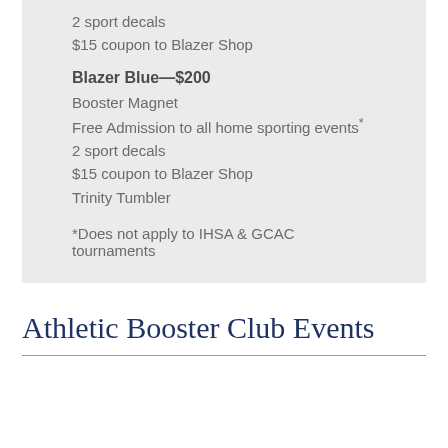2 sport decals
$15 coupon to Blazer Shop
Blazer Blue—$200
Booster Magnet
Free Admission to all home sporting events*
2 sport decals
$15 coupon to Blazer Shop
Trinity Tumbler
*Does not apply to IHSA & GCAC tournaments
Athletic Booster Club Events